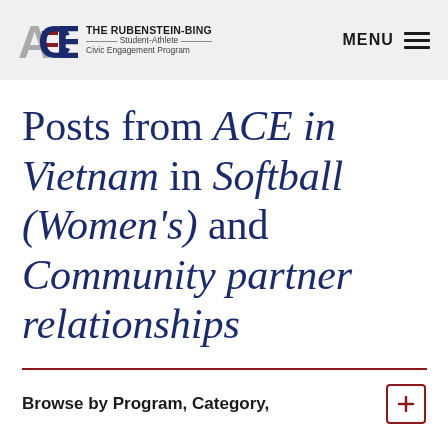THE RUBENSTEIN-BING Student-Athlete Civic Engagement Program | MENU
Posts from ACE in Vietnam in Softball (Women's) and Community partner relationships
Browse by Program, Category,